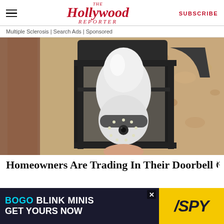THE Hollywood Reporter  SUBSCRIBE
Multiple Sclerosis | Search Ads | Sponsored
[Figure (photo): A white security camera bulb installed inside a black outdoor lantern wall sconce, mounted on a textured stucco wall. The camera has a circular lens with LED ring lights at the bottom.]
Homeowners Are Trading In Their Doorbell Cams Fo...
[Figure (photo): Advertisement banner: BOGO BLINK MINIS GET YOURS NOW, with SPY logo on yellow background.]